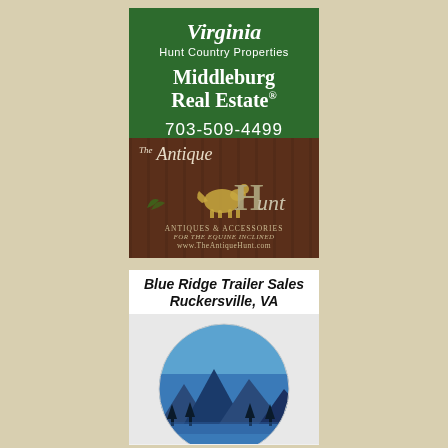[Figure (advertisement): Green background advertisement for Virginia Hunt Country Properties - Middleburg Real Estate. Phone: 703-509-4499. Website: McIntoshandEldredge.realtor]
[Figure (advertisement): Brown wood-panel background advertisement for The Antique Hunt - Antiques & Accessories For The Equine Inclined. Website: www.TheAntiqueHunt.com]
[Figure (advertisement): White and blue advertisement for Blue Ridge Trailer Sales, Ruckersville, VA with circular mountain/sky graphic]